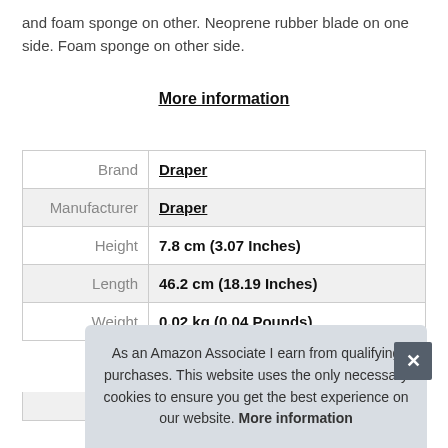and foam sponge on other. Neoprene rubber blade on one side. Foam sponge on other side.
More information
| Brand | Draper |
| Manufacturer | Draper |
| Height | 7.8 cm (3.07 Inches) |
| Length | 46.2 cm (18.19 Inches) |
| Weight | 0.02 kg (0.04 Pounds) |
As an Amazon Associate I earn from qualifying purchases. This website uses the only necessary cookies to ensure you get the best experience on our website. More information